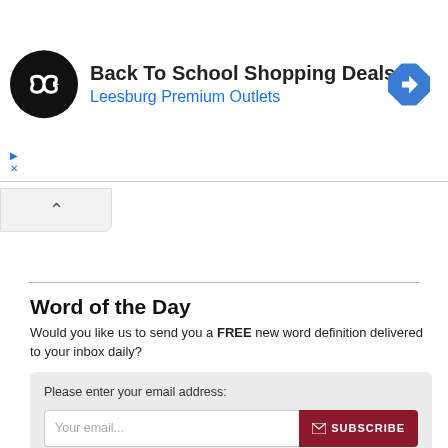[Figure (infographic): Ad banner for Back To School Shopping Deals at Leesburg Premium Outlets, with a circular black logo with infinity-like arrow symbol, text, and a blue diamond navigation icon on the right.]
Back To School Shopping Deals
Leesburg Premium Outlets
Word of the Day
Would you like us to send you a FREE new word definition delivered to your inbox daily?
Please enter your email address:
Your email...
SUBSCRIBE